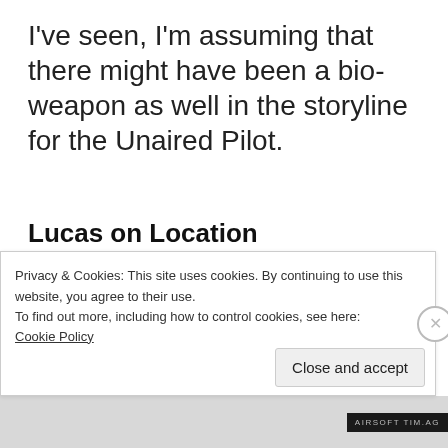I've seen, I'm assuming that there might have been a bio-weapon as well in the storyline for the Unaired Pilot.
Lucas on Location
There's only a handful of photos of Lucas Till on location, but let's take a look at them. There's one of Lucas with
Privacy & Cookies: This site uses cookies. By continuing to use this website, you agree to their use.
To find out more, including how to control cookies, see here:
Cookie Policy
Close and accept